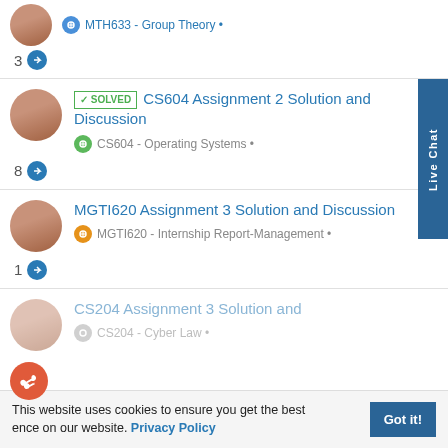MTH633 - Group Theory •
3 →
✓ SOLVED  CS604 Assignment 2 Solution and Discussion
CS604 - Operating Systems •
8 →
MGTI620 Assignment 3 Solution and Discussion
MGTI620 - Internship Report-Management •
1 →
CS204 Assignment 3 Solution and
CS204 - Cyber Law •
This website uses cookies to ensure you get the best experience on our website. Privacy Policy
Got it!